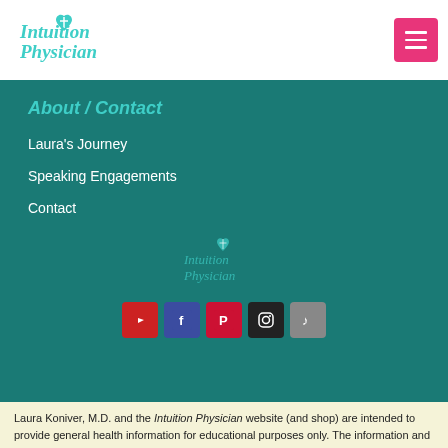[Figure (logo): Intuition Physician logo with teal heart and caduceus symbol, cursive text]
[Figure (other): Pink/magenta hamburger menu button with three white horizontal lines]
About / Contact
Laura's Journey
Speaking Engagements
Contact
[Figure (logo): Intuition Physician logo watermark in teal on dark teal background]
[Figure (other): Row of social media icons: YouTube (red), Facebook (blue), Pinterest (red), Instagram (black), TikTok (gray)]
Laura Koniver, M.D. and the Intuition Physician website (and shop) are intended to provide general health information for educational purposes only. The information and healing products on this website are not to be used as a substitute for medical advice, can not diagnosis or treat any health condition, and does not substitute for care from your own in-person